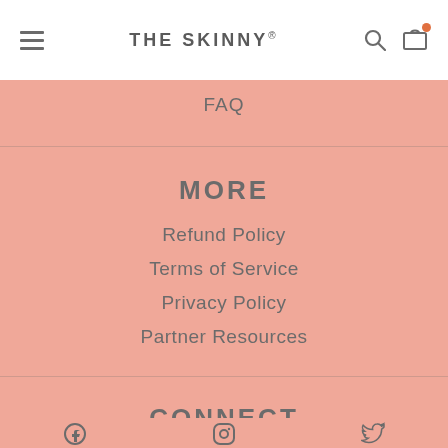THE SKINNY®
FAQ
MORE
Refund Policy
Terms of Service
Privacy Policy
Partner Resources
CONNECT